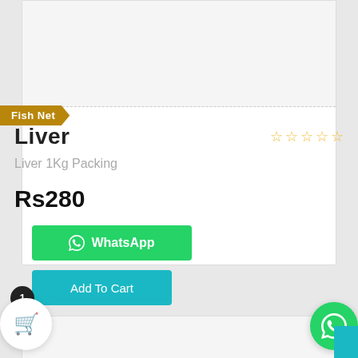[Figure (other): Product image area (blank/white) for Liver product]
Fish Net
Liver
Liver 1Kg Packing
Rs280
WhatsApp
Add To Cart
[Figure (other): Second product card image area (partial, bottom of page)]